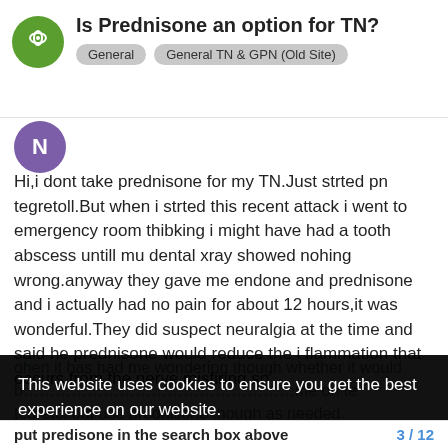Is Prednisone an option for TN? | General | General TN & GPN (Old Site)
Hi,i dont take prednisone for my TN.Just strted pn tegretoll.But when i strted this recent attack i went to emergency room thibking i might have had a tooth abscess untill mu dental xray showed nohing wrong.anyway they gave me endone and prednisone and i actually had no pain for about 12 hours,it was wonderful.They did suspect neuralgia at the time and said he prednisone would reduce the i flammation that occurs from the nerve misfiring so
ohen it has had me wondering though whether it would b... me on te tegretol but use prednisone though as needed.
This website uses cookies to ensure you get the best experience on our website.
Learn more
Got it!
put predisone in the search box above